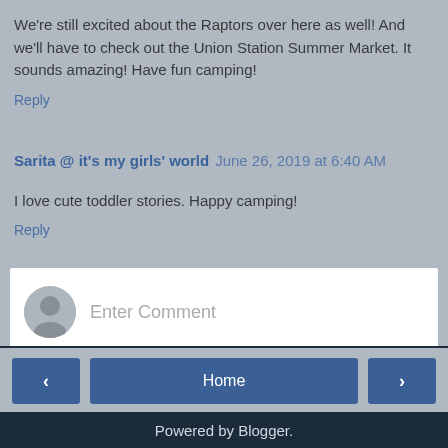We're still excited about the Raptors over here as well! And we'll have to check out the Union Station Summer Market. It sounds amazing! Have fun camping!
Reply
Sarita @ it's my girls' world  June 26, 2019 at 6:40 AM
I love cute toddler stories. Happy camping!
Reply
[Figure (screenshot): Enter Comment input box with user avatar icon on the left]
Home navigation bar with back arrow, Home button, and forward arrow, plus View web version link
Powered by Blogger.